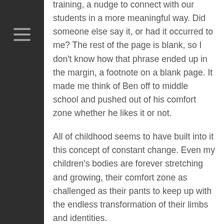training, a nudge to connect with our students in a more meaningful way. Did someone else say it, or had it occurred to me? The rest of the page is blank, so I don't know how that phrase ended up in the margin, a footnote on a blank page. It made me think of Ben off to middle school and pushed out of his comfort zone whether he likes it or not.
All of childhood seems to have built into it this concept of constant change. Even my children's bodies are forever stretching and growing, their comfort zone as challenged as their pants to keep up with the endless transformation of their limbs and identities.
I feel a little envious of how, within my children's lives there is the built-in expectation that they will